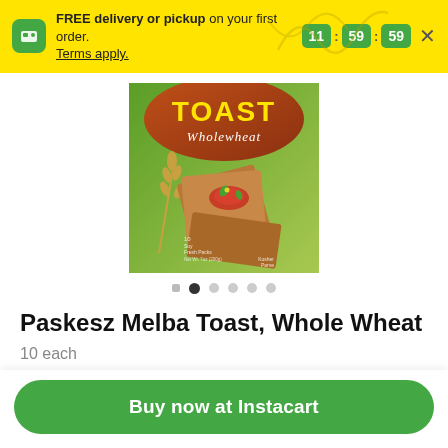FREE delivery or pickup on your first order. Terms apply. 11 : 59 : 59
[Figure (photo): Product image of Paskesz Melba Toast Wholewheat box, showing toast crackers, wheat stalks on a green and brown background. Text: TOAST Wholewheat, 10 Soy Fresh Packs, Net Wt. 7oz (200g), Kosher Parve]
Paskesz Melba Toast, Whole Wheat
10 each
Buy now at Instacart